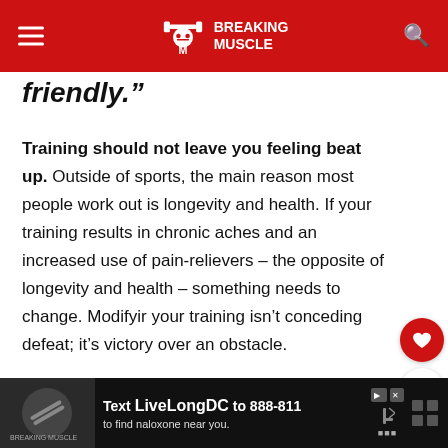Breaking Muscle
friendly.”
Training should not leave you feeling beat up. Outside of sports, the main reason most people work out is longevity and health. If your training results in chronic aches and an increased use of pain-relievers – the opposite of longevity and health – something needs to change. Modifying your training isn’t conceding defeat; it’s victory over an obstacle.
[Figure (screenshot): Advertisement bar: Text LiveLongDC to 888-811 to find naloxone near you.]